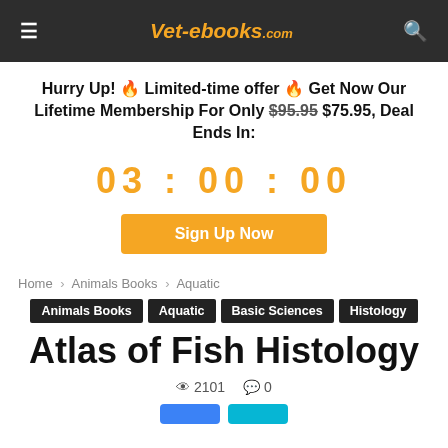Vet-ebooks.com
Hurry Up! 🔥 Limited-time offer 🔥 Get Now Our Lifetime Membership For Only $95.95 $75.95, Deal Ends In:
03 : 00 : 00
Sign Up Now
Home › Animals Books › Aquatic
Animals Books
Aquatic
Basic Sciences
Histology
Atlas of Fish Histology
👁 2101  💬 0